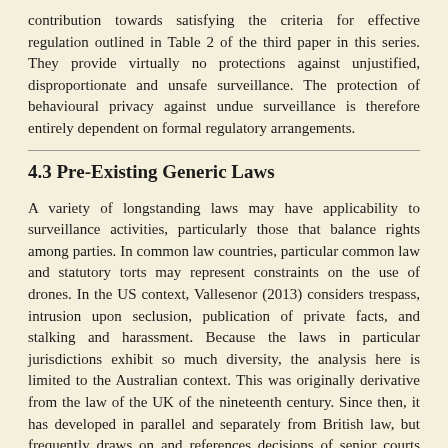contribution towards satisfying the criteria for effective regulation outlined in Table 2 of the third paper in this series. They provide virtually no protections against unjustified, disproportionate and unsafe surveillance. The protection of behavioural privacy against undue surveillance is therefore entirely dependent on formal regulatory arrangements.
4.3 Pre-Existing Generic Laws
A variety of longstanding laws may have applicability to surveillance activities, particularly those that balance rights among parties. In common law countries, particular common law and statutory torts may represent constraints on the use of drones. In the US context, Vallesenor (2013) considers trespass, intrusion upon seclusion, publication of private facts, and stalking and harassment. Because the laws in particular jurisdictions exhibit so much diversity, the analysis here is limited to the Australian context. This was originally derivative from the law of the UK of the nineteenth century. Since then, it has developed in parallel and separately from British law, but frequently draws on and references decisions of senior courts throughout the common law world.
This section considers in turn land-related and other torts, recently-emerged statutory provisions, and human rights laws.
(1) T